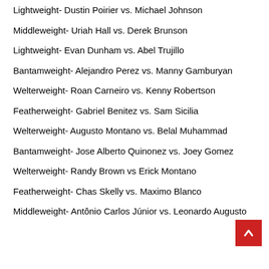Lightweight- Dustin Poirier vs. Michael Johnson
Middleweight- Uriah Hall vs. Derek Brunson
Lightweight- Evan Dunham vs. Abel Trujillo
Bantamweight- Alejandro Perez vs. Manny Gamburyan
Welterweight- Roan Carneiro vs. Kenny Robertson
Featherweight- Gabriel Benitez vs. Sam Sicilia
Welterweight- Augusto Montano vs. Belal Muhammad
Bantamweight- Jose Alberto Quinonez vs. Joey Gomez
Welterweight- Randy Brown vs Erick Montano
Featherweight- Chas Skelly vs. Maximo Blanco
Middleweight- Antônio Carlos Júnior vs. Leonardo Augusto